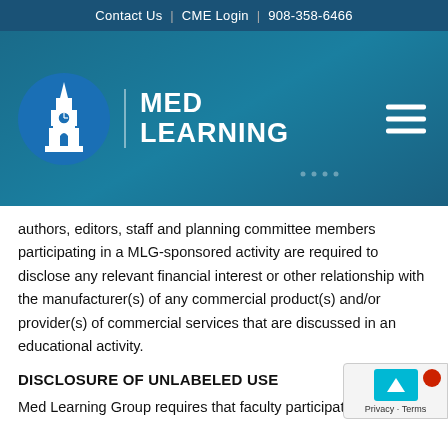Contact Us  |  CME Login  |  908-358-6466
[Figure (logo): Med Learning Group logo with clock tower icon on blue background and hamburger menu icon]
authors, editors, staff and planning committee members participating in a MLG-sponsored activity are required to disclose any relevant financial interest or other relationship with the manufacturer(s) of any commercial product(s) and/or provider(s) of commercial services that are discussed in an educational activity.
DISCLOSURE OF UNLABELED USE
Med Learning Group requires that faculty participating in